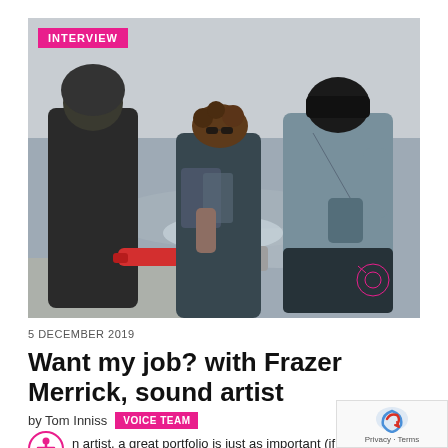[Figure (photo): Three people standing at the water's edge on a beach/shoreline. The middle person has curly hair and sunglasses and appears to be wading in the water holding something. A person on the left wears a dark jacket. A person on the right wears a grey jacket with a bag. A red piece of equipment is visible on the left foreground. An INTERVIEW label badge appears in the top-left of the photo.]
5 DECEMBER 2019
Want my job? with Frazer Merrick, sound artist
by Tom Inniss  VOICE TEAM
n artist, a great portfolio is just as important (if not m... ny qualification."